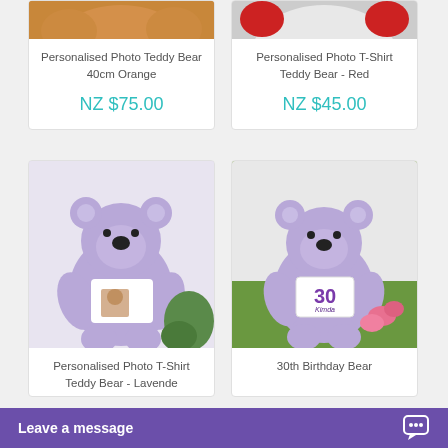[Figure (photo): Partial top view of an orange teddy bear product photo]
Personalised Photo Teddy Bear 40cm Orange
NZ $75.00
[Figure (photo): Partial top view of a red teddy bear with white shirt product photo]
Personalised Photo T-Shirt Teddy Bear - Red
NZ $45.00
[Figure (photo): Lavender purple teddy bear wearing a personalised photo t-shirt, seated on white surface with green decor]
Personalised Photo T-Shirt Teddy Bear - Lavende
[Figure (photo): Lavender purple teddy bear wearing a 30th birthday t-shirt with name Kimda, seated on grass with pink flowers]
30th Birthday Bear
Leave a message